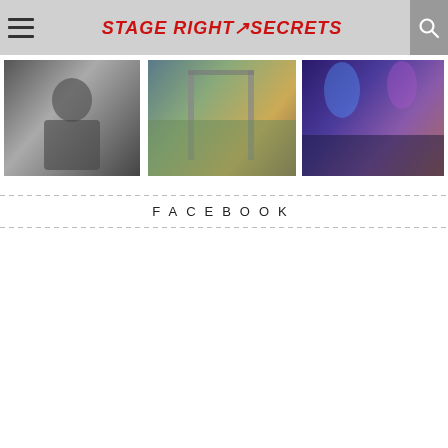Stage Right Secrets
[Figure (photo): Black and white photo of a person]
[Figure (photo): Outdoor festival stage with crane structure and colorful mural]
[Figure (photo): Concert crowd and performers on stage with purple and blue lighting]
FACEBOOK